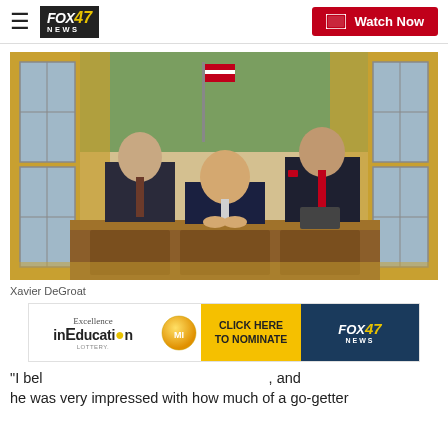FOX 47 NEWS | Watch Now
[Figure (photo): Three men posing in the Oval Office. A man in a dark suit stands on the left, a man seated at the Resolute Desk in the center (smiling), and an older man in a dark suit with a red tie and pocket square on the right. American flag and gold curtains visible in background.]
Xavier DeGroat
[Figure (other): Advertisement banner: Excellence in Education with Fox 47 News logo, lottery ball graphic, and 'CLICK HERE TO NOMINATE' yellow button]
"I bel , and he was very impressed with how much of a go-getter